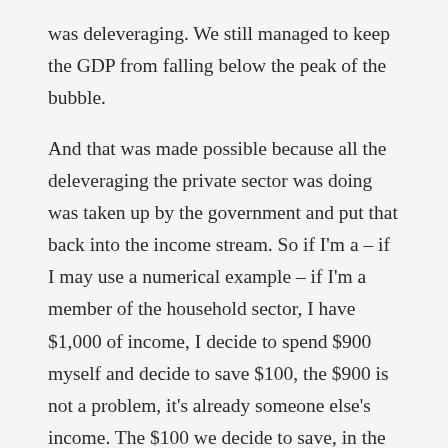was deleveraging. We still managed to keep the GDP from falling below the peak of the bubble.

And that was made possible because all the deleveraging the private sector was doing was taken up by the government and put that back into the income stream. So if I'm a – if I may use a numerical example – if I'm a member of the household sector, I have $1,000 of income, I decide to spend $900 myself and decide to save $100, the $900 is not a problem, it's already someone else's income. The $100 we decide to save, in the usual world, will go through a financial sector -- people like us -- and it will give it to someone who can use it and that that person follows and spends it, then you have $900 plus $100,